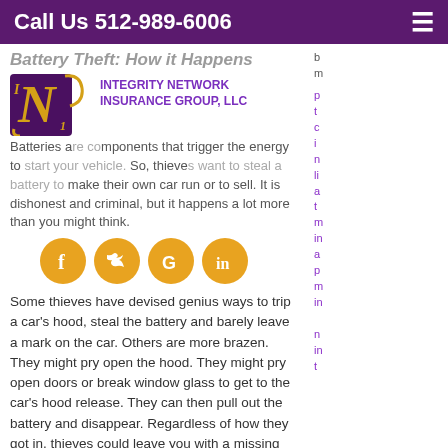Call Us 512-989-6006
Battery Theft: How it Happens
Batteries are components that trigger the energy to start your vehicle. So, thieves want to steal a battery to make their own car run or to sell. It is dishonest and criminal, but it happens a lot more than you might think.
[Figure (logo): Integrity Network Insurance Group LLC logo with stylized N in purple box with gold accents]
[Figure (infographic): Four social media circular icons (Facebook, Twitter, Google, LinkedIn) in gold/yellow color]
Some thieves have devised genius ways to trip a car’s hood, steal the battery and barely leave a mark on the car. Others are more brazen. They might pry open the hood. They might pry open doors or break window glass to get to the car’s hood release. They can then pull out the battery and disappear. Regardless of how they got in, thieves could leave you with a missing battery and costly damage.
Will Insurance Help You
Car insurance can help you replace a stolen car battery. However, your policy will likely have certain limitations. Thus, all batteries will not have coverage
p t c i li a t m in a p m in n in t